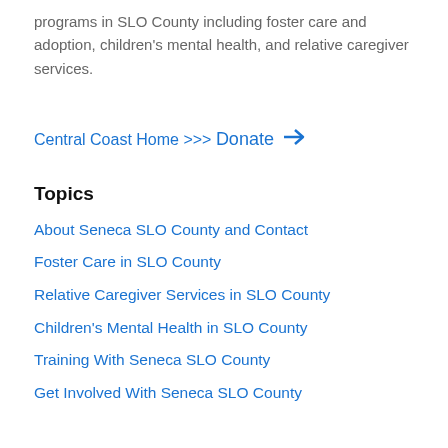programs in SLO County including foster care and adoption, children's mental health, and relative caregiver services.
Central Coast Home >>>
Donate →
Topics
About Seneca SLO County and Contact
Foster Care in SLO County
Relative Caregiver Services in SLO County
Children's Mental Health in SLO County
Training With Seneca SLO County
Get Involved With Seneca SLO County